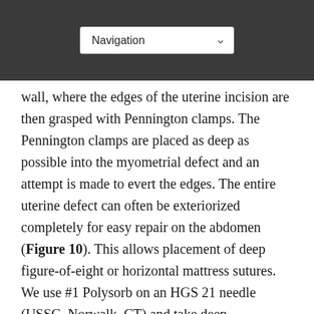wall, where the edges of the uterine incision are then grasped with Pennington clamps. The Pennington clamps are placed as deep as possible into the myometrial defect and an attempt is made to evert the edges. The entire uterine defect can often be exteriorized completely for easy repair on the abdomen (Figure 10). This allows placement of deep figure-of-eight or horizontal mattress sutures. We use #1 Polysorb on an HGS 21 needle (USSC, Norwalk, CT) and take deep myometrial bites to close off the base of the incision and approximate the myometrium. A